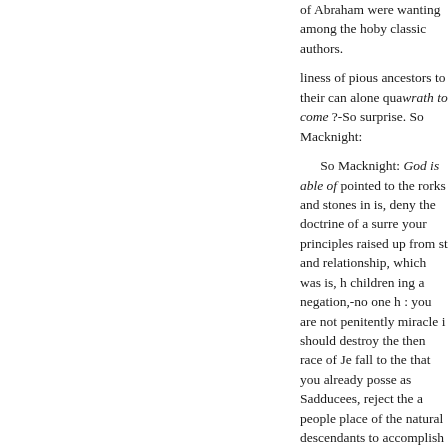of Abraham were wanting among the hoby classic authors.
liness of pious ancestors to their can alone quawrath to come ?-So surprise. So Macknight:
So Macknight: God is able of pointed to the rorks and stones in is, deny the doctrine of a resurre your principles raised up from st and relationship, which was is, h children ing a negation,-no one h : you are not penitently miracle i should destroy the then race of J fall to the that you already posse as Sadducees, reject the a people place of the natural descendants to accomplish of the destruction hearers as sinners before God, T in the calling of the Gentiles, is the Jews as which he speaks; an he thus teaches in one their feet; the true church of God in the co